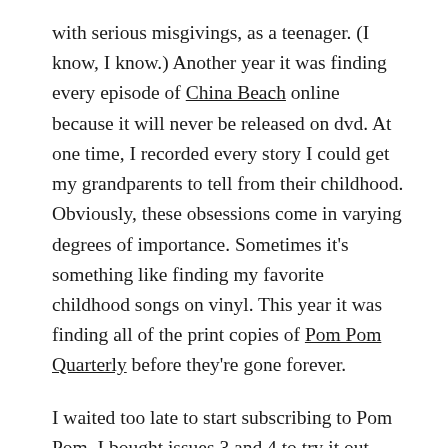with serious misgivings, as a teenager.  (I know, I know.)  Another year it was finding every episode of China Beach online because it will never be released on dvd.  At one time, I recorded every story I could get my grandparents to tell from their childhood.  Obviously, these obsessions come in varying degrees of importance. Sometimes it's something like finding my favorite childhood songs on vinyl.  This year it was finding all of the print copies of Pom Pom Quarterly before they're gone forever.

I waited too late to start subscribing to Pom Pom.  I bought issues 3 and 4 to try it out.  When I saw the quality of the print, illustrations, and patterns, I subscribed and snagged issue 2 at the same time.